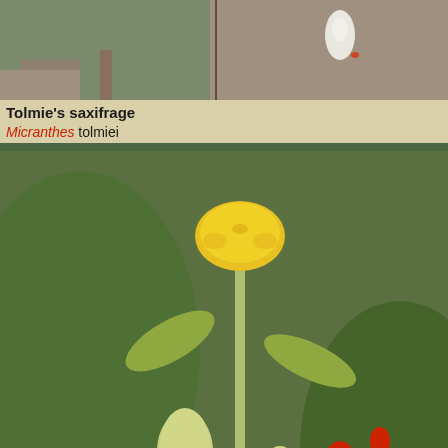[Figure (photo): Tolmie's saxifrage plant photo - close-up of rocky terrain with small plant]
Tolmie's saxifrage 55%
Micranthes tolmiei
[Figure (photo): Hornemann's willowherb plant photo - white flower on stem]
Hornemann's willowherb 55%
Epilobium hornemannii
[Figure (photo): Parry's arnica plant photo - yellow flower with fuzzy buds, red flowers in background]
Parry's arnica 54%
Arnica parryi
[Figure (photo): yellow willowherb plant photo - white flowers with green leaves]
yellow willowherb 54%
Epilobium luteum
[Figure (photo): Virginia strawberry - blank/loading placeholder]
Virginia strawberry 54%
[Figure (photo): clasping twisted-stalk - blank/loading placeholder]
clasping twisted-stalk 54%